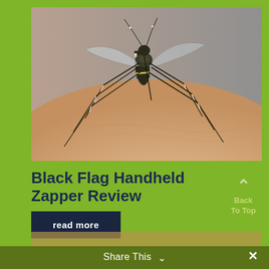[Figure (photo): Close-up macro photograph of a mosquito (tiger mosquito / Aedes albopictus) with black and white striped legs and body, biting or resting on human skin. The mosquito is shown in sharp detail against a blurred grey background, with its proboscis touching the pinkish skin surface.]
Black Flag Handheld Zapper Review
read more
Back To Top
Share This